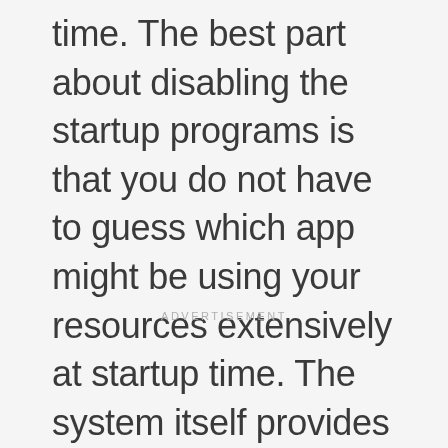time. The best part about disabling the startup programs is that you do not have to guess which app might be using your resources extensively at startup time. The system itself provides you with impact-level information of a program.
ADVERTISEMENT